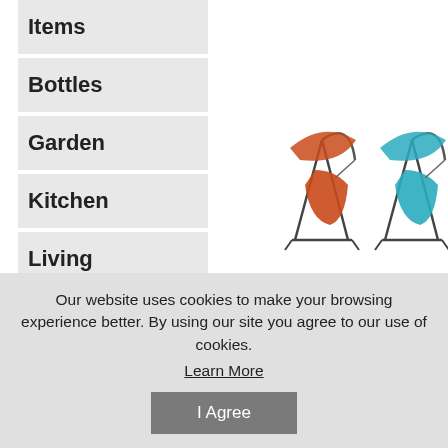Items
Bottles
Garden
Kitchen
Living Room
Outdoor
[Figure (photo): Orange/Red single person hanging swing chair with canopy]
[Figure (photo): Teal single person hanging swing chair with canopy]
[Figure (photo): Modern Porch Swing chair]
Orange/R Single Person
Teal Single Person
Modern Porch Swing
Our website uses cookies to make your browsing experience better. By using our site you agree to our use of cookies. Learn More